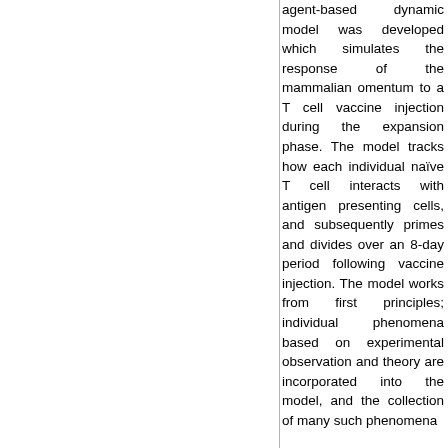agent-based dynamic model was developed which simulates the response of the mammalian omentum to a T cell vaccine injection during the expansion phase. The model tracks how each individual naïve T cell interacts with antigen presenting cells, and subsequently primes and divides over an 8-day period following vaccine injection. The model works from first principles; individual phenomena based on experimental observation and theory are incorporated into the model, and the collection of many such phenomena